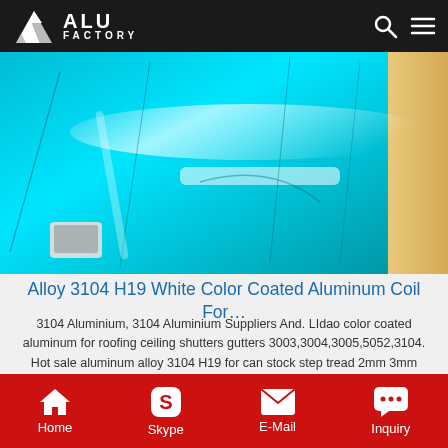ALU FACTORY
[Figure (photo): Blue color coated aluminum coil sheets laid flat, with a phone/device visible in the lower left corner]
Alloy 3104 H19 White Color Coated Aluminum Coil For…
3104 Aluminium, 3104 Aluminium Suppliers And. LIdao color coated aluminum for roofing ceiling shutters gutters 3003,3004,3005,5052,3104. Hot sale aluminum alloy 3104 H19 for can stock step tread 2mm 3mm 4mm thick aluminium sheet
Get Price
Home  Skype  E-Mail  Inquiry